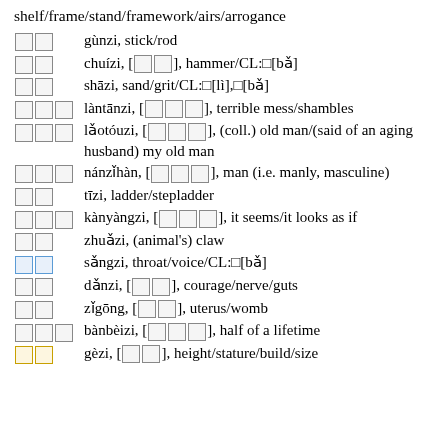shelf/frame/stand/framework/airs/arrogance
□□ gùnzi, stick/rod
□□ chuízi, [□□], hammer/CL:□[bǎ]
□□ shāzi, sand/grit/CL:□[lì],□[bǎ]
□□□ làntānzi, [□□□], terrible mess/shambles
□□□ lǎotóuzi, [□□□], (coll.) old man/(said of an aging husband) my old man
□□□ nánzǐhàn, [□□□], man (i.e. manly, masculine)
□□ tīzi, ladder/stepladder
□□□ kànyàngzi, [□□□], it seems/it looks as if
□□ zhuǎzi, (animal's) claw
□□ sǎngzi, throat/voice/CL:□[bǎ]
□□ dǎnzi, [□□], courage/nerve/guts
□□ zǐgōng, [□□], uterus/womb
□□□ bànbèizi, [□□□], half of a lifetime
□□ gèzi, [□□], height/stature/build/size